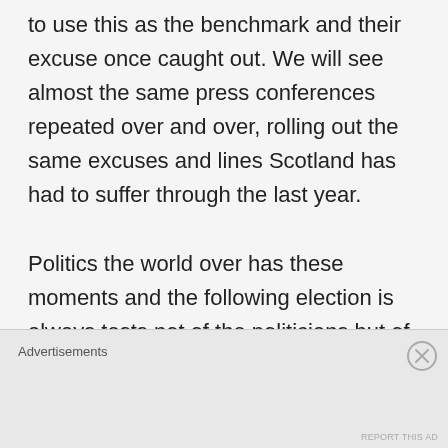to use this as the benchmark and their excuse once caught out. We will see almost the same press conferences repeated over and over, rolling out the same excuses and lines Scotland has had to suffer through the last year.

Politics the world over has these moments and the following election is always tests not of the politicians but of voters. Scotland has a big question…will another illusory indy mandate carrot
Advertisements